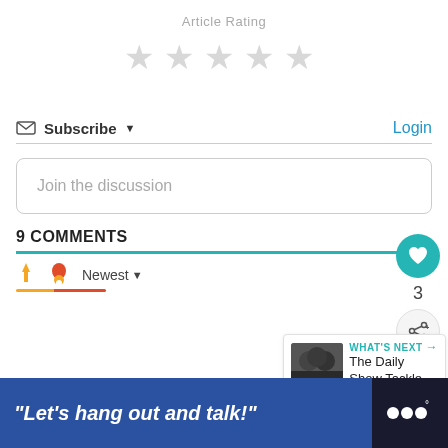Article Rating
[Figure (other): Five empty star icons for article rating]
Subscribe ▼
Login
Join the discussion
3
9 COMMENTS
Newest ▼
WHAT'S NEXT → The Daily Show Tackle...
[Figure (photo): Small thumbnail of people, WHAT'S NEXT card for The Daily Show Tackle...]
"Let's hang out and talk!"